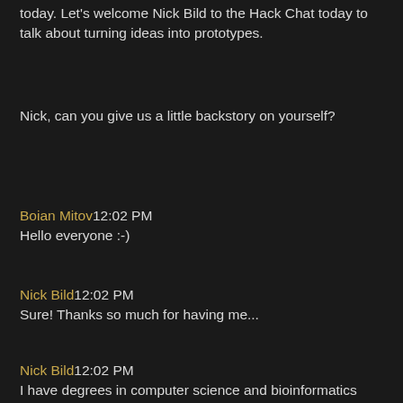today. Let's welcome Nick Bild to the Hack Chat today to talk about turning ideas into prototypes.
Nick, can you give us a little backstory on yourself?
Boian Mitov 12:02 PM
Hello everyone :-)
Nick Bild 12:02 PM
Sure! Thanks so much for having me...
Nick Bild 12:02 PM
I have degrees in computer science and bioinformatics